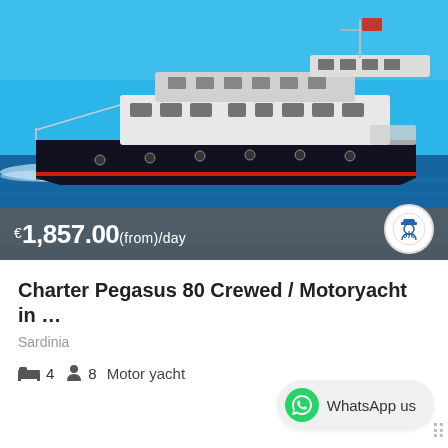[Figure (photo): A large dark-hulled motor yacht cruising on blue Mediterranean sea with a white superstructure and a red flag, viewed from the starboard side. Price overlay shows €1,857.00(from)/day with a captain badge icon.]
Charter Pegasus 80 Crewed / Motoryacht in …
Sardinia
4  8  Motor yacht
WhatsApp us